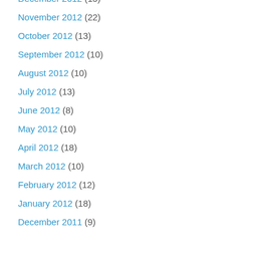December 2012 (15)
November 2012 (22)
October 2012 (13)
September 2012 (10)
August 2012 (10)
July 2012 (13)
June 2012 (8)
May 2012 (10)
April 2012 (18)
March 2012 (10)
February 2012 (12)
January 2012 (18)
December 2011 (9)